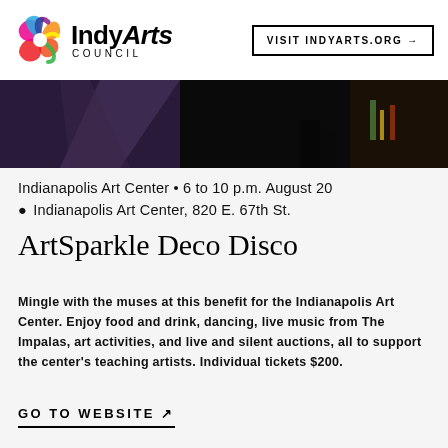[Figure (logo): Indy Arts Council logo with colorful spiral icon and text 'IndyArts COUNCIL']
VISIT INDYARTS.ORG →
[Figure (photo): Dark photo strip showing a performance or event scene at Indianapolis Art Center]
Indianapolis Art Center • 6 to 10 p.m. August 20
📍 Indianapolis Art Center, 820 E. 67th St.
ArtSparkle Deco Disco
Mingle with the muses at this benefit for the Indianapolis Art Center. Enjoy food and drink, dancing, live music from The Impalas, art activities, and live and silent auctions, all to support the center's teaching artists. Individual tickets $200.
GO TO WEBSITE ↗